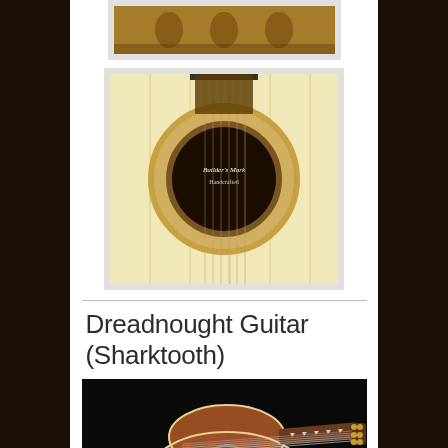[Figure (photo): Partial view of guitar tuning pegs and headstock with amber/brown tones, cropped at top]
[Figure (photo): Close-up of acoustic guitar sound hole with decorative rosette inlay on pale spruce top, showing label inside]
Dreadnought Guitar (Sharktooth)
[Figure (photo): Full acoustic dreadnought guitar with cedar top and sharktooth fretboard inlays on black background]